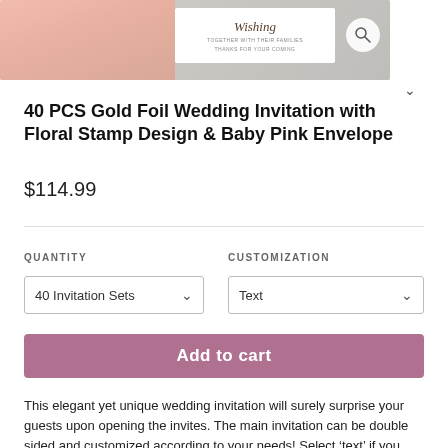[Figure (photo): Product photo of gold foil wedding invitations with pink envelope and floral stamp design, showing a white insert card with script text 'Wishing' and decorative details on a grey textured background. A magnifier icon appears in the top right of the image.]
40 PCS Gold Foil Wedding Invitation with Floral Stamp Design & Baby Pink Envelope
$114.99
QUANTITY
CUSTOMIZATION
40 Invitation Sets
Text
Add to cart
This elegant yet unique wedding invitation will surely surprise your guests upon opening the invites. The main invitation can be double sided and customized according to your needs! Select 'text' if you only need to change the text or 'text + design' if you need some design changes. We